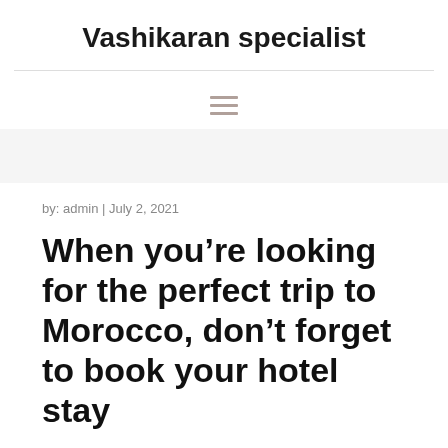Vashikaran specialist
by: admin | July 2, 2021
When you're looking for the perfect trip to Morocco, don't forget to book your hotel stay